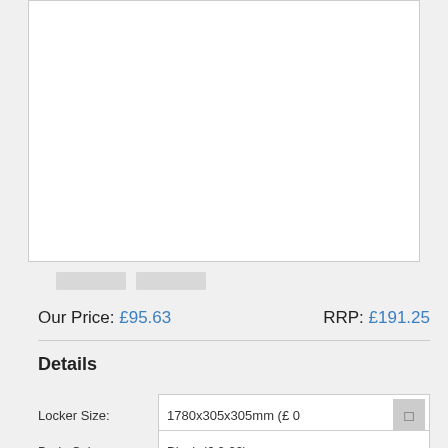[Figure (photo): Product image placeholder area, white box with light border]
Our Price: £95.63   RRP: £191.25
Details
Locker Size: 1780x305x305mm (£ 0...
Body Colour: Black (£ 0.00)